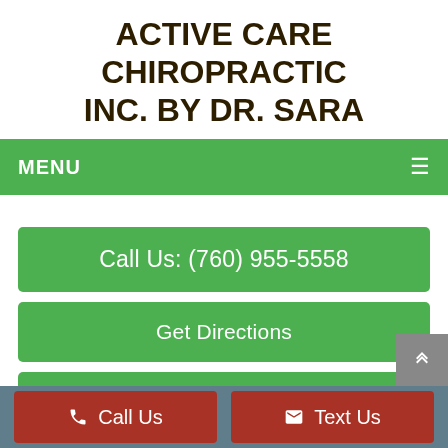ACTIVE CARE CHIROPRACTIC INC. BY DR. SARA
MENU
Call Us: (760) 955-5558
Get Directions
Call for an Appointment
[Figure (other): Social media icon buttons: Facebook, Google, Twitter, Yelp]
Call Us
Text Us